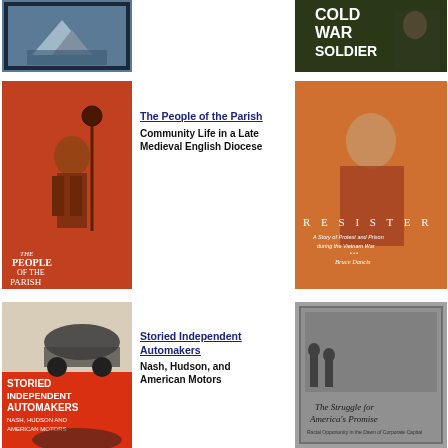[Figure (photo): Book cover: dark blue/grey ship/iceberg image]
[Figure (photo): Book cover: 'COLD WAR SOLDIER' text on dark green/black background with soldier photo]
[Figure (photo): Book cover: 'THE PEOPLE OF THE PARISH - Community Life in a Late Medieval English Diocese' red cover with illustrated medieval figure, by Katherine L. French]
The People of the Parish
Community Life in a Late Medieval English Diocese
[Figure (photo): Book cover: 'RESISTER - A Story of Protest and Prison during the Vietnam War' by Bruce Dancis, orange toned photo of young man]
[Figure (photo): Book cover: 'STORIED INDEPENDENT AUTOMAKERS - Nash, Hudson, and American Motors' with vintage car images]
Storied Independent Automakers
Nash, Hudson, and American Motors
[Figure (photo): Book cover: 'The Struggle for America's Promise' with black and white photo]